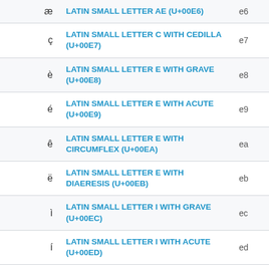| Character | Name | Code |
| --- | --- | --- |
| æ | LATIN SMALL LETTER AE (U+00E6) | e6 |
| ç | LATIN SMALL LETTER C WITH CEDILLA (U+00E7) | e7 |
| è | LATIN SMALL LETTER E WITH GRAVE (U+00E8) | e8 |
| é | LATIN SMALL LETTER E WITH ACUTE (U+00E9) | e9 |
| ê | LATIN SMALL LETTER E WITH CIRCUMFLEX (U+00EA) | ea |
| ë | LATIN SMALL LETTER E WITH DIAERESIS (U+00EB) | eb |
| ì | LATIN SMALL LETTER I WITH GRAVE (U+00EC) | ec |
| í | LATIN SMALL LETTER I WITH ACUTE (U+00ED) | ed |